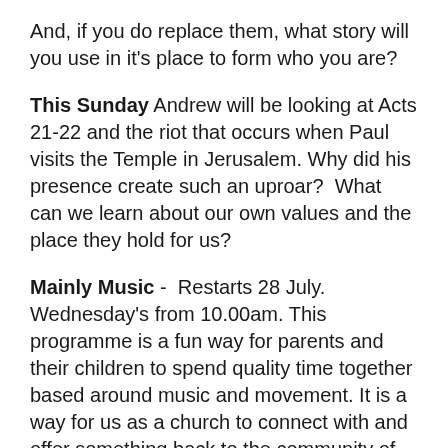And, if you do replace them, what story will you use in it's place to form who you are?
This Sunday Andrew will be looking at Acts 21-22 and the riot that occurs when Paul visits the Temple in Jerusalem. Why did his presence create such an uproar?  What can we learn about our own values and the place they hold for us?
Mainly Music -  Restarts 28 July. Wednesday's from 10.00am. This programme is a fun way for parents and their children to spend quality time together based around music and movement. It is a way for us as a church to connect with and offer something back to the community of which we are a part. It's also a way for us to demonstrate care, concern and support for those with young children.
Small Groups are now up and running again.